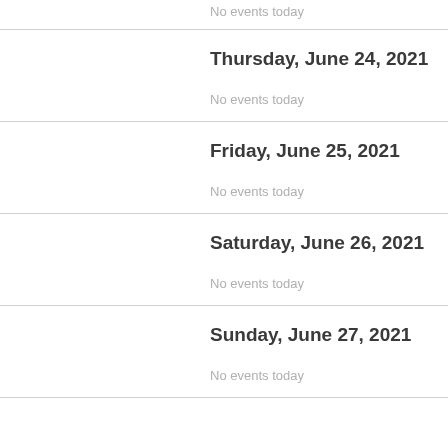No events today
Thursday, June 24, 2021
No events today
Friday, June 25, 2021
No events today
Saturday, June 26, 2021
No events today
Sunday, June 27, 2021
No events today